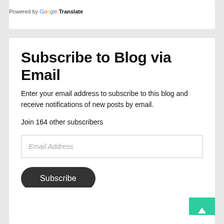Powered by Google Translate
Subscribe to Blog via Email
Enter your email address to subscribe to this blog and receive notifications of new posts by email.
Join 164 other subscribers
Email Address
Subscribe